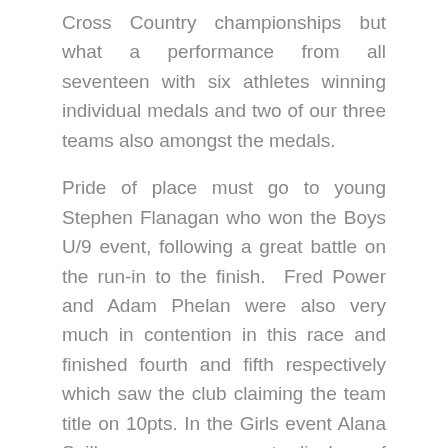Cross Country championships but what a performance from all seventeen with six athletes winning individual medals and two of our three teams also amongst the medals.
Pride of place must go to young Stephen Flanagan who won the Boys U/9 event, following a great battle on the run-in to the finish. Fred Power and Adam Phelan were also very much in contention in this race and finished fourth and fifth respectively which saw the club claiming the team title on 10pts. In the Girls event Alana Spillane gave a great display of running to finish in fourth place and with Dearbhla Gleeson finishing 12th and Sarah McGinley 19th the three